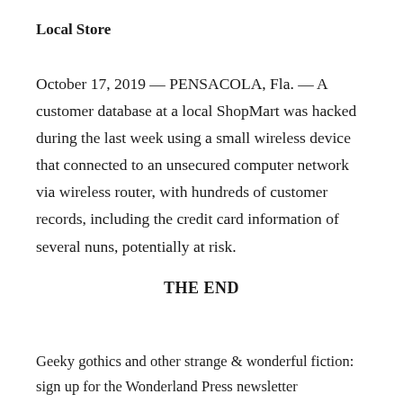Local Store
October 17, 2019 — PENSACOLA, Fla. — A customer database at a local ShopMart was hacked during the last week using a small wireless device that connected to an unsecured computer network via wireless router, with hundreds of customer records, including the credit card information of several nuns, potentially at risk.
THE END
Geeky gothics and other strange & wonderful fiction: sign up for the Wonderland Press newsletter